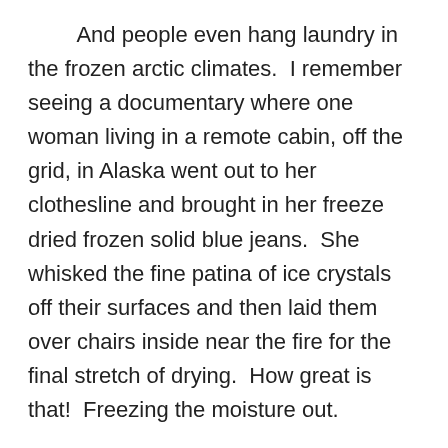And people even hang laundry in the frozen arctic climates.  I remember seeing a documentary where one woman living in a remote cabin, off the grid, in Alaska went out to her clothesline and brought in her freeze dried frozen solid blue jeans.  She whisked the fine patina of ice crystals off their surfaces and then laid them over chairs inside near the fire for the final stretch of drying.  How great is that!  Freezing the moisture out.
One of the bio-markers of aging is not being able to stand while holding one foot up off the ground and then lifting the opposite arm straight up over head.  Bending and reaching with my basket and line, stretching and often balancing to place a pin, stepping up and down off of my well placed concrete blocks to reach the taller end points of the line, listening to the birds and feeling the